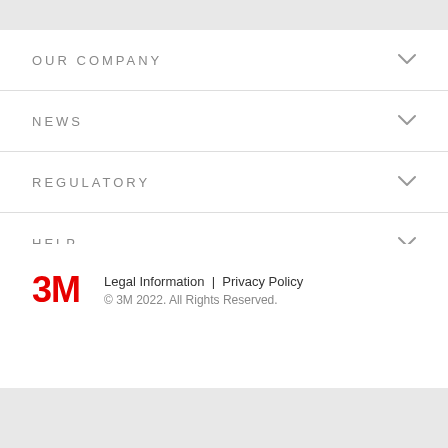OUR COMPANY
NEWS
REGULATORY
HELP
Legal Information | Privacy Policy
© 3M 2022. All Rights Reserved.